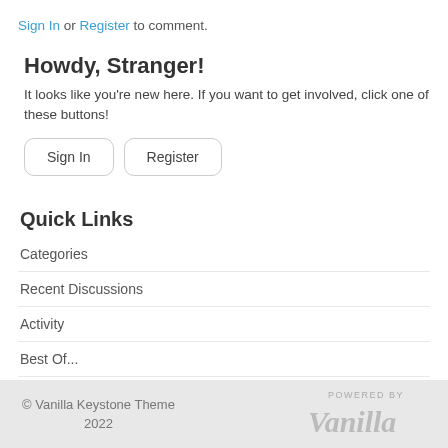Sign In or Register to comment.
Howdy, Stranger!
It looks like you're new here. If you want to get involved, click one of these buttons!
Sign In
Register
Quick Links
Categories
Recent Discussions
Activity
Best Of...
Unanswered 1
© Vanilla Keystone Theme 2022 POWERED BY Vanilla